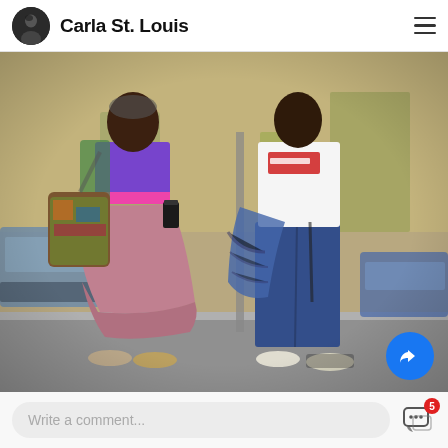Carla St. Louis
[Figure (photo): Two people walking on a street. On the left, a woman wearing a purple crop top, pink waistband, long purple/mauve tiered skirt, a colorful large handbag, and tan sneakers. On the right, a person wearing a white graphic t-shirt, blue jeans, carrying a blue plaid shirt/jacket draped over their arm, and white sneakers. Urban street setting with cars and trees in background.]
Write a comment...